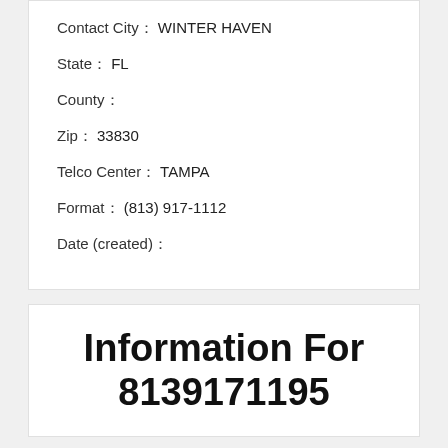Contact City：WINTER HAVEN
State：FL
County：
Zip：33830
Telco Center：TAMPA
Format：(813) 917-1112
Date (created)：
Information For 8139171195